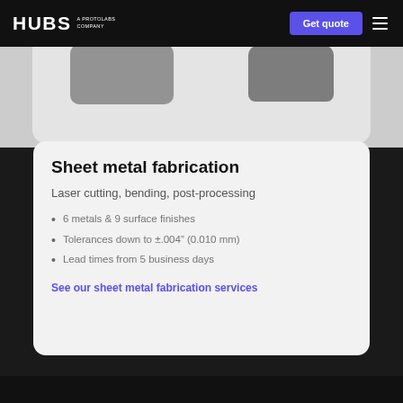HUBS A PROTOLABS COMPANY | Get quote
[Figure (photo): Top-down photo of metal fabricated parts on a light grey background — two rounded rectangular sheet metal pieces in dark grey.]
Sheet metal fabrication
Laser cutting, bending, post-processing
6 metals & 9 surface finishes
Tolerances down to ±.004” (0.010 mm)
Lead times from 5 business days
See our sheet metal fabrication services